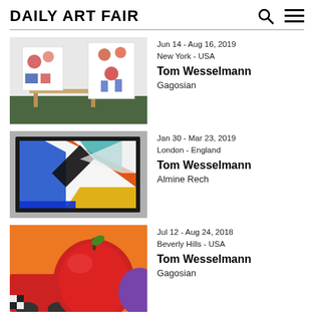Daily Art Fair
[Figure (photo): Gallery installation view with colorful floral paintings on white walls and a wooden table on green floor]
Jun 14 - Aug 16, 2019
New York - USA
Tom Wesselmann
Gagosian
[Figure (photo): Abstract geometric painting with blue, red, orange, black and white shapes in a dark frame]
Jan 30 - Mar 23, 2019
London - England
Tom Wesselmann
Almine Rech
[Figure (photo): Close-up of a large red apple with an orange and red car visible in the background]
Jul 12 - Aug 24, 2018
Beverly Hills - USA
Tom Wesselmann
Gagosian